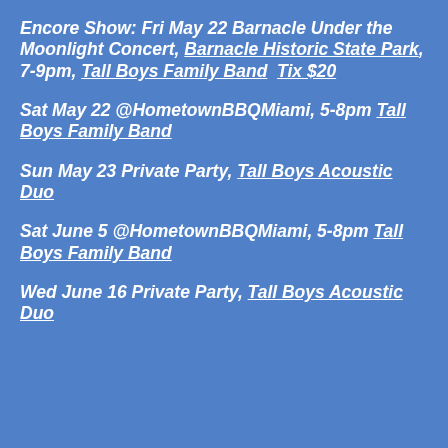Encore Show: Fri May 22 Barnacle Under the Moonlight Concert, Barnacle Historic State Park, 7-9pm, Tall Boys Family Band  Tix $20
Sat May 22 @HometownBBQMiami, 5-8pm Tall Boys Family Band
Sun May 23 Private Party, Tall Boys Acoustic Duo
Sat June 5 @HometownBBQMiami, 5-8pm Tall Boys Family Band
Wed June 16 Private Party, Tall Boys Acoustic Duo